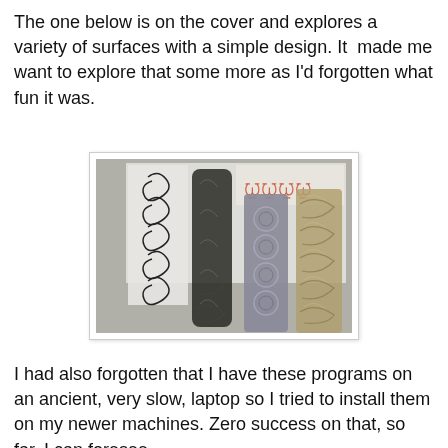The one below is on the cover and explores a variety of surfaces with a simple design. It  made me want to explore that some more as I'd forgotten what fun it was.
[Figure (photo): Photo showing four vertical decorative textile/design samples side by side against a white/grey background. On the left is a black printed swirl/tribal pattern on paper. Next to it are three textured fabric/yarn samples with similar spiral/curl motifs in dark, grey-blue, and tan/natural colors. In the upper right background there is an orange/red printed swirl design on paper.]
I had also forgotten that I have these programs on an ancient, very slow, laptop so I tried to install them on my newer machines. Zero success on that, so far. I can foresee